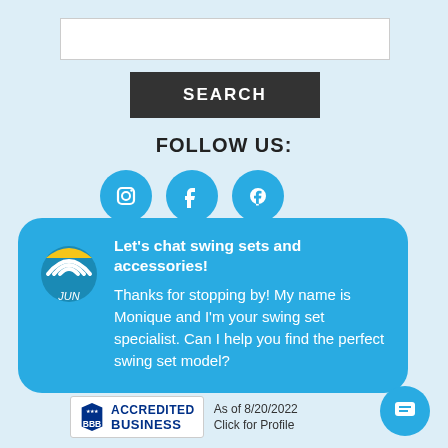[Figure (screenshot): Search input text box (white rectangle)]
[Figure (screenshot): Dark gray SEARCH button]
FOLLOW US:
[Figure (screenshot): Three teal circular social media icons (Instagram, Facebook, and another)]
[Figure (screenshot): Teal chat bubble with avatar logo: Let's chat swing sets and accessories! Thanks for stopping by! My name is Monique and I'm your swing set specialist. Can I help you find the perfect swing set model?]
[Figure (logo): BBB Accredited Business badge with As of 8/20/2022 and Click for Profile text]
[Figure (screenshot): Teal circular chat/message button at bottom right]